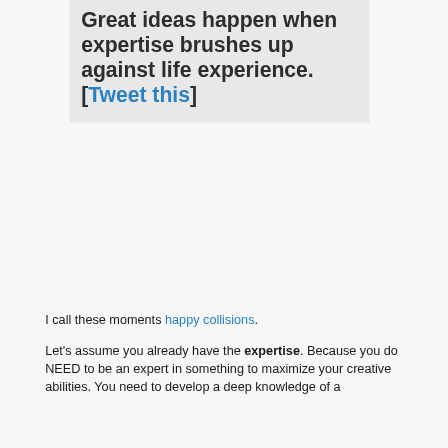[Figure (other): Gray box containing a pull quote in bold dark text with a Tweet this link]
I call these moments happy collisions.
Let's assume you already have the expertise. Because you do NEED to be an expert in something to maximize your creative abilities. You need to develop a deep knowledge of a